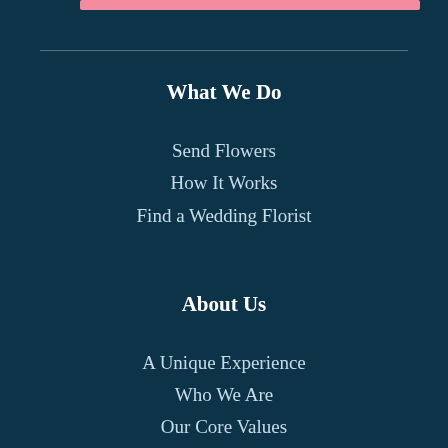What We Do
Send Flowers
How It Works
Find a Wedding Florist
About Us
A Unique Experience
Who We Are
Our Core Values
Careers
What We're Saying